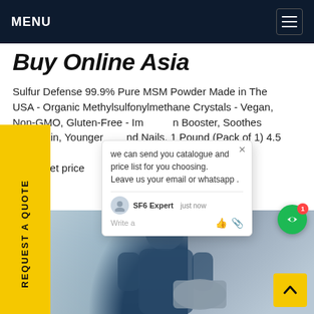MENU
Buy Online Asia
Sulfur Defense 99.9% Pure MSM Powder Made in The USA - Organic Methylsulfonylmethane Crystals - Vegan, Non-GMO, Gluten-Free - Immune Booster, Soothes Joint Pain, Younger Skin and Nails. 1 Pound (Pack of 1) 4.5 out of 5 $9.95.Get price
[Figure (screenshot): Chat popup overlay with text: 'we can send you catalogue and price list for you choosing. Leave us your email or whatsapp .' with SF6 Expert agent name and 'just now' timestamp, write input area with thumbs up and paperclip icons]
[Figure (photo): Industrial worker in blue uniform working on large grey machinery/equipment, photographed from behind]
REQUEST A QUOTE